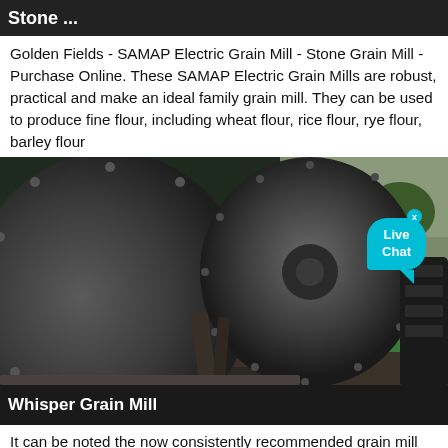Stone ...
Golden Fields - SAMAP Electric Grain Mill - Stone Grain Mill - Purchase Online. These SAMAP Electric Grain Mills are robust, practical and make an ideal family grain mill. They can be used to produce fine flour, including wheat flour, rice flour, rye flour, barley flour
[Figure (photo): Large industrial stone grain mill machinery photographed outdoors. Two large circular stone grinding wheels visible, with bolted metal flanges, set against a background showing trees and buildings. A 'Live Chat' speech bubble UI overlay is visible in the upper right area of the photo.]
Whisper Grain Mill
It can be noted the now consistently recommended grain mill for many millennia that. Not all mills will produce ...